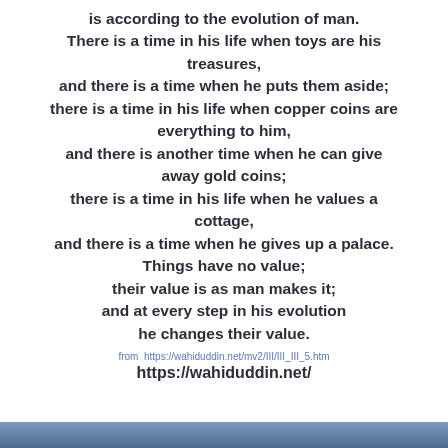is according to the evolution of man. There is a time in his life when toys are his treasures, and there is a time when he puts them aside; there is a time in his life when copper coins are everything to him, and there is another time when he can give away gold coins; there is a time in his life when he values a cottage, and there is a time when he gives up a palace. Things have no value; their value is as man makes it; and at every step in his evolution he changes their value.
from  https://wahiduddin.net/mv2/III/III_III_5.htm
https://wahiduddin.net/